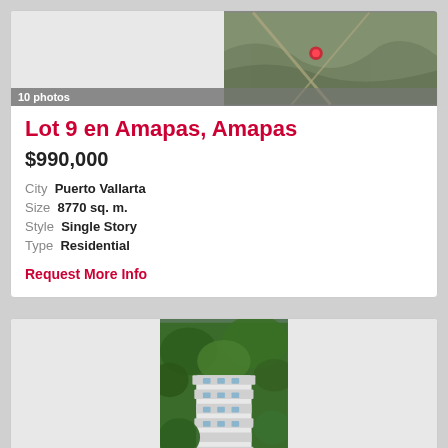[Figure (photo): Aerial/satellite view of a land lot with a red marker, with a photo strip showing 10 photos label]
10 photos
Lot 9 en Amapas, Amapas
$990,000
City  Puerto Vallarta
Size  8770 sq. m.
Style  Single Story
Type  Residential
Request More Info
[Figure (photo): Aerial photo of multi-story white residential building surrounded by tropical green trees on a hillside]